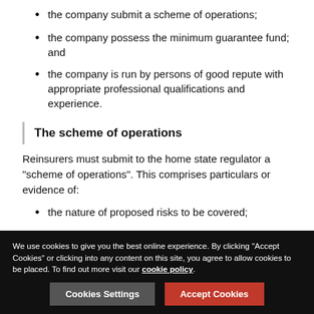the company submit a scheme of operations;
the company possess the minimum guarantee fund; and
the company is run by persons of good repute with appropriate professional qualifications and experience.
The scheme of operations
Reinsurers must submit to the home state regulator a “scheme of operations”. This comprises particulars or evidence of:
the nature of proposed risks to be covered;
the kinds of reinsurance arrangements the company intends to enter into;
We use cookies to give you the best online experience. By clicking “Accept Cookies” or clicking into any content on this site, you agree to allow cookies to be placed. To find out more visit our cookie policy.